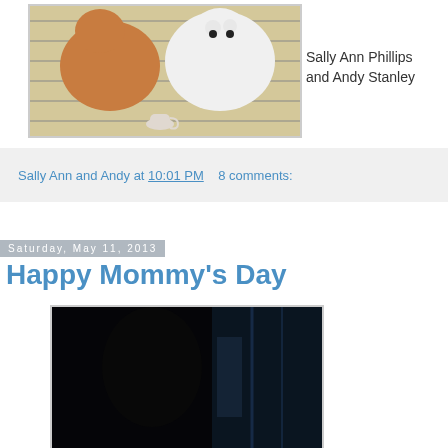[Figure (photo): Photo of two cats/dogs on striped pillows, one white fluffy animal and one partially visible brown/orange animal]
Sally Ann Phillips and Andy Stanley
Sally Ann and Andy at 10:01 PM   8 comments:
Saturday, May 11, 2013
Happy Mommy's Day
[Figure (photo): Dark photo with a silhouette/shadow figure, mostly black with some blue tones visible]